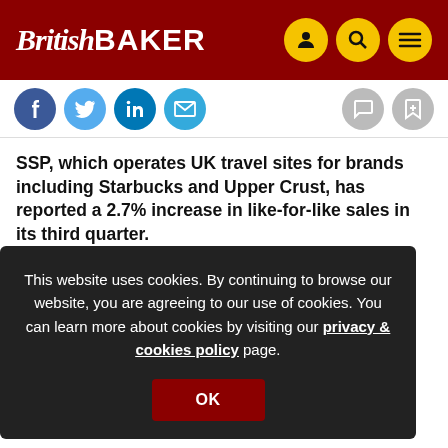British Baker
SSP, which operates UK travel sites for brands including Starbucks and Upper Crust, has reported a 2.7% increase in like-for-like sales in its third quarter.
Th... Ap... be... co...
[Figure (other): Cookie consent overlay: This website uses cookies. By continuing to browse our website, you are agreeing to our use of cookies. You can learn more about cookies by visiting our privacy & cookies policy page. [OK button]]
Bu... se... by strike action in France.